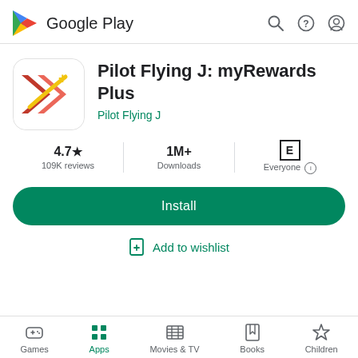[Figure (logo): Google Play logo with colorful triangle and 'Google Play' text]
[Figure (logo): App icon for Pilot Flying J myRewards Plus - red and yellow design with rocket/star]
Pilot Flying J: myRewards Plus
Pilot Flying J
4.7★ 109K reviews | 1M+ Downloads | E Everyone
Install
Add to wishlist
Games | Apps | Movies & TV | Books | Children